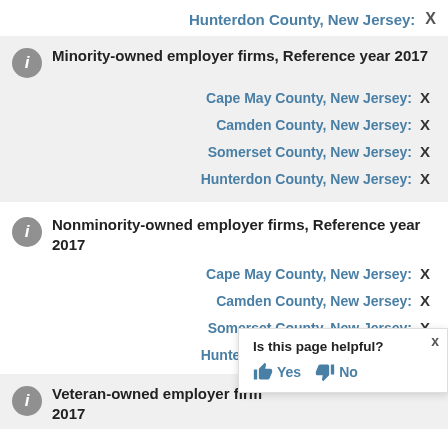Hunterdon County, New Jersey: X
Minority-owned employer firms, Reference year 2017
Cape May County, New Jersey: X
Camden County, New Jersey: X
Somerset County, New Jersey: X
Hunterdon County, New Jersey: X
Nonminority-owned employer firms, Reference year 2017
Cape May County, New Jersey: X
Camden County, New Jersey: X
Somerset County, New Jersey: X
Hunterdon County, New Jersey: X
Veteran-owned employer firms, Reference year 2017